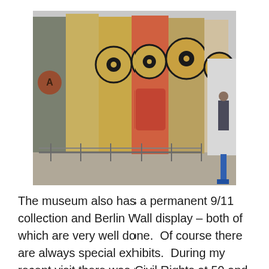[Figure (photo): Sections of the Berlin Wall on display, covered in graffiti art including large cartoon-like eyes and figures in red, yellow, and black. The concrete slabs stand upright in what appears to be a museum or exhibition space with a railing in front and people visible in the background.]
The museum also has a permanent 9/11 collection and Berlin Wall display – both of which are very well done.  Of course there are always special exhibits.  During my recent visit there was Civil Rights at 50 and Creating Camelot.  For kids (and adults) there is